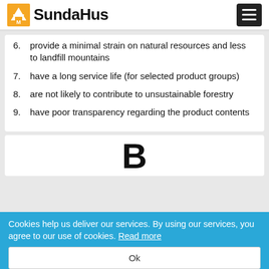SundaHus
6. provide a minimal strain on natural resources and less to landfill mountains
7. have a long service life (for selected product groups)
8. are not likely to contribute to unsustainable forestry
9. have poor transparency regarding the product contents
[Figure (illustration): Large letter B displayed in the center of a white card]
Cookies help us deliver our services. By using our services, you agree to our use of cookies. Read more
Ok